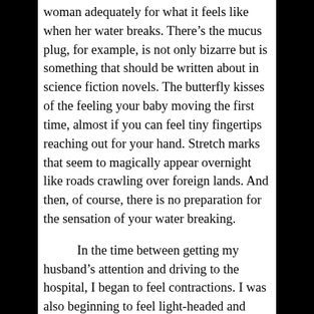woman adequately for what it feels like when her water breaks. There’s the mucus plug, for example, is not only bizarre but is something that should be written about in science fiction novels. The butterfly kisses of the feeling your baby moving the first time, almost if you can feel tiny fingertips reaching out for your hand. Stretch marks that seem to magically appear overnight like roads crawling over foreign lands. And then, of course, there is no preparation for the sensation of your water breaking.
In the time between getting my husband’s attention and driving to the hospital, I began to feel contractions. I was also beginning to feel light-headed and have heart palpitations, but didn’t think anything of it. It was extremely warm that day and I remember thinking that perhaps I hadn’t had enough water. I wanted my son to be taken care of, however. He needed to have lunch and have